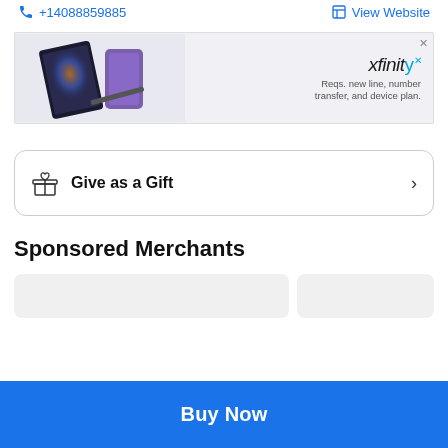+14088859885   View Website
[Figure (photo): Xfinity advertisement banner showing Samsung foldable phone devices with text: 'xfinity Reqs. new line, number transfer, and device plan.']
Give as a Gift
Sponsored Merchants
Buy Now